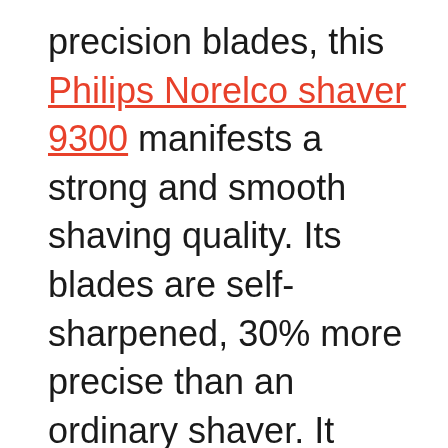precision blades, this Philips Norelco shaver 9300 manifests a strong and smooth shaving quality. Its blades are self-sharpened, 30% more precise than an ordinary shaver. It independently moves in 8-directions for easy maneuver on every corner of your face.